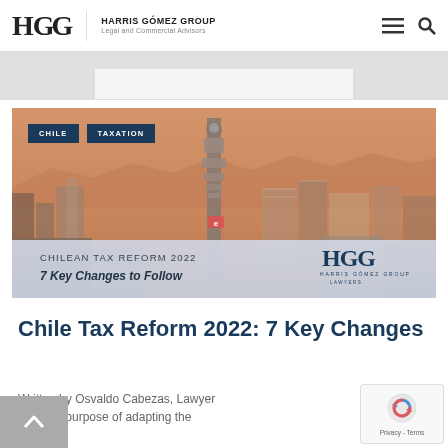HGG HARRIS GÓMEZ GROUP Legal and Commercial Advisors
[Figure (photo): Aerial/street-level cityscape of Santiago, Chile with a telecommunications tower in the center. Overlaid text reads 'CHILEAN TAX REFORM 2022 - 7 Key Changes to Follow' with Harris Gómez Group logo. Two dark navy tag buttons labeled 'CHILE' and 'TAXATION' appear in top-left of image.]
Chile Tax Reform 2022: 7 Key Changes
Written by Osvaldo Cabezas, Lawyer
With the purpose of adapting the